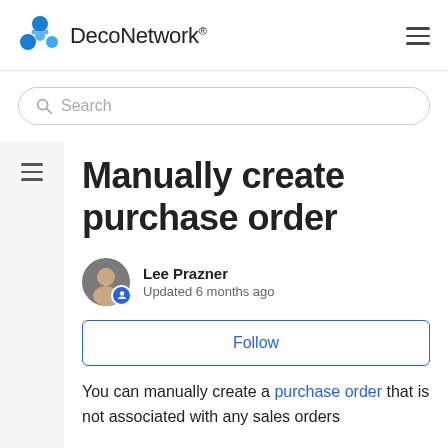DecoNetwork
Search
Manually create purchase order
Lee Prazner
Updated 6 months ago
Follow
You can manually create a purchase order that is not associated with any sales orders from the Purchase Orders menu in Business...